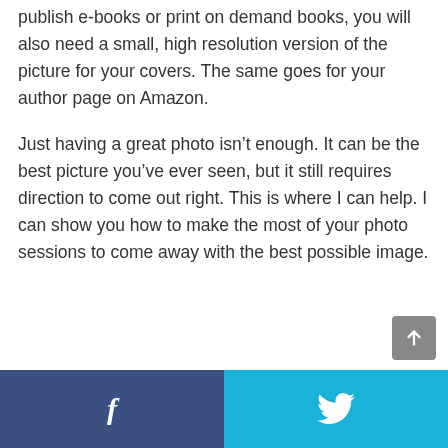publish e-books or print on demand books, you will also need a small, high resolution version of the picture for your covers. The same goes for your author page on Amazon.
Just having a great photo isn't enough. It can be the best picture you've ever seen, but it still requires direction to come out right. This is where I can help. I can show you how to make the most of your photo sessions to come away with the best possible image.
f  [twitter bird icon]